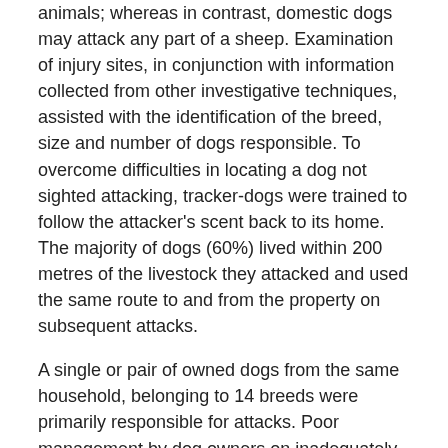animals; whereas in contrast, domestic dogs may attack any part of a sheep. Examination of injury sites, in conjunction with information collected from other investigative techniques, assisted with the identification of the breed, size and number of dogs responsible. To overcome difficulties in locating a dog not sighted attacking, tracker-dogs were trained to follow the attacker's scent back to its home. The majority of dogs (60%) lived within 200 metres of the livestock they attacked and used the same route to and from the property on subsequent attacks.
A single or pair of owned dogs from the same household, belonging to 14 breeds were primarily responsible for attacks. Poor management by dog owners on inadequately fenced smallholdings enabled these dogs to wander unnoticed from their properties. Although most dog owners accepted evidence of their dogs' involvement, few accepted blame and most were surprised that their "friendly" pet could attack livestock. Unless dogs were destroyed, relocated or contained by their owners they were likely to attack again.
It is concluded that dog attacks occur commonly in urban